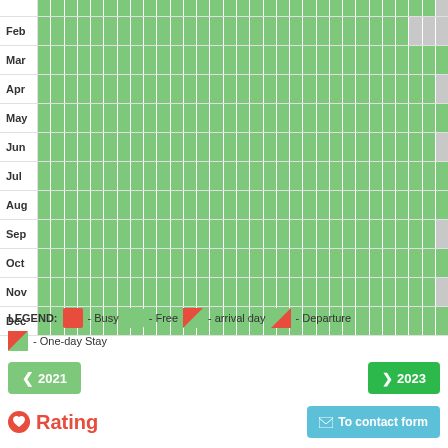[Figure (other): Calendar availability grid showing months Feb through Dec with day columns colored green (free) or gray (unavailable/busy). Most days are green, with some gray cells at ends of rows for months with fewer than 31 days.]
LEGEND: [Busy] - Busy  [Free] - Free  [arrival day icon] - arrival day  [Departure icon] - Departure
[One-day Stay icon] - One-day Stay
< 2021    > 2023
Rating    To contact form